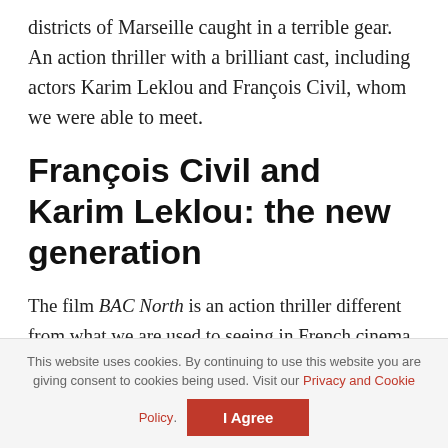districts of Marseille caught in a terrible gear. An action thriller with a brilliant cast, including actors Karim Leklou and François Civil, whom we were able to meet.
François Civil and Karim Leklou: the new generation
The film BAC North is an action thriller different from what we are used to seeing in French cinema. We indeed feel the desire to use new codes to the genre. If the film does not succeed entirely, it can still count on a cast which is not necessarily used to this kind of films. If Cédric Jimenez finds Gilles Lellouche, whom he has already
This website uses cookies. By continuing to use this website you are giving consent to cookies being used. Visit our Privacy and Cookie Policy. I Agree